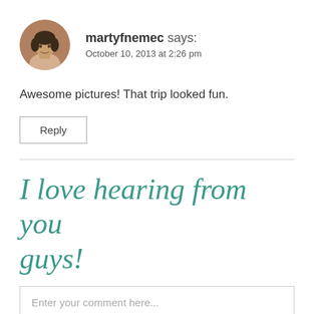[Figure (photo): Circular avatar photo of a young person with dark hair, shown from shoulders up, with a brownish/dark background.]
martyfnemec says:
October 10, 2013 at 2:26 pm
Awesome pictures! That trip looked fun.
Reply
I love hearing from you guys!
Enter your comment here...